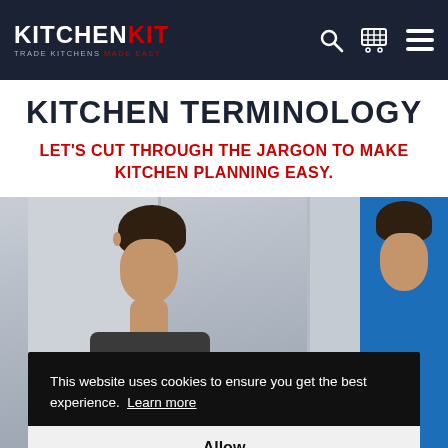KITCHEN KIT — TRADE KITCHENS MADE EASY (navigation header with logo, search icon, cart icon, menu icon)
KITCHEN TERMINOLOGY
LET'S CUT THROUGH THE JARGON TO MAKE KITCHEN PLANNING EASY.
[Figure (photo): Two men looking at kitchen cabinets, one wearing a blue shirt, viewed from behind/side]
This website uses cookies to ensure you get the best experience.  Learn more
Allow